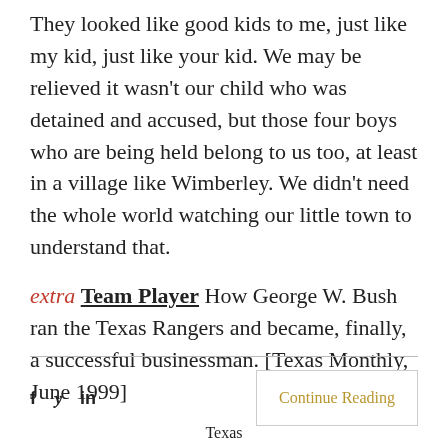They looked like good kids to me, just like my kid, just like your kid. We may be relieved it wasn't our child who was detained and accused, but those four boys who are being held belong to us too, at least in a village like Wimberley. We didn't need the whole world watching our little town to understand that.
extra Team Player How George W. Bush ran the Texas Rangers and became, finally, a successful businessman. [Texas Monthly, June 1999]
f  y  in
Continue Reading
Texas